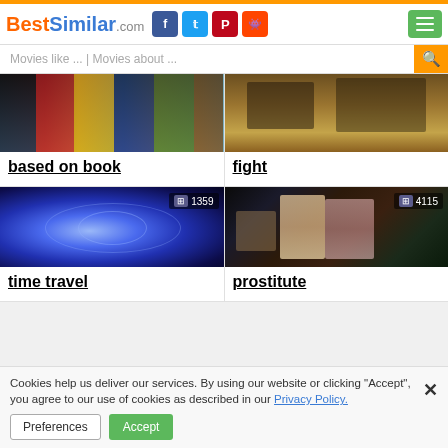BestSimilar.com
Movies like ... | Movies about ...
[Figure (photo): Movie collage showing several film posters]
based on book
[Figure (photo): Fight scene with dust and figures]
fight
[Figure (photo): Blue space/time spiral with clock imagery, badge showing 1359]
time travel
[Figure (photo): Two women on street at night, badge showing 4115]
prostitute
Cookies help us deliver our services. By using our website or clicking "Accept", you agree to our use of cookies as described in our Privacy Policy.